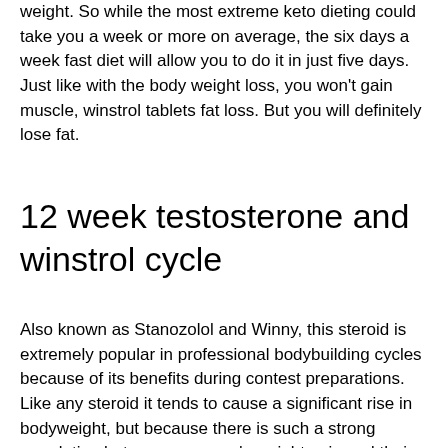weight. So while the most extreme keto dieting could take you a week or more on average, the six days a week fast diet will allow you to do it in just five days. Just like with the body weight loss, you won't gain muscle, winstrol tablets fat loss. But you will definitely lose fat.
12 week testosterone and winstrol cycle
Also known as Stanozolol and Winny, this steroid is extremely popular in professional bodybuilding cycles because of its benefits during contest preparations. Like any steroid it tends to cause a significant rise in bodyweight, but because there is such a strong correlation between a person's weight gain and their body fat percentage, this steroid can be safely used in a weight loss